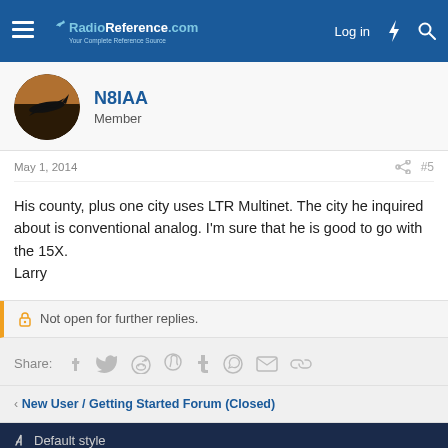RadioReference.com — Log in
N8IAA
Member
May 1, 2014  #5
His county, plus one city uses LTR Multinet. The city he inquired about is conventional analog. I'm sure that he is good to go with the 15X.
Larry
Not open for further replies.
Share:
< New User / Getting Started Forum (Closed)
Default style  Contact us  Terms and rules  Privacy policy  Help